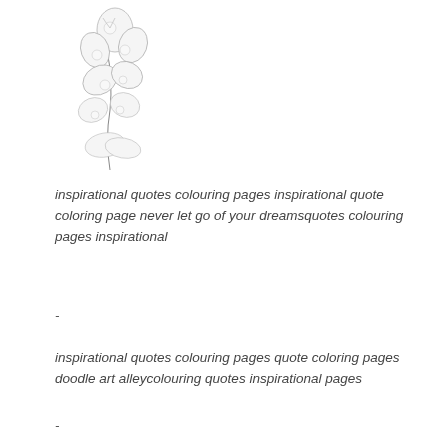[Figure (illustration): Detailed black and white floral/botanical illustration with intricate decorative patterns]
inspirational quotes colouring pages inspirational quote coloring page never let go of your dreamsquotes colouring pages inspirational
-
inspirational quotes colouring pages quote coloring pages doodle art alleycolouring quotes inspirational pages
-